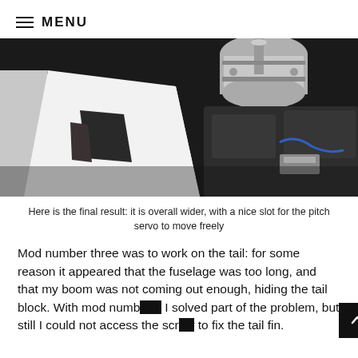MENU
[Figure (photo): Close-up photo of a white fuselage component next to dark metallic mechanical parts (servo mechanism), showing a slot cut into the white plastic part.]
Here is the final result: it is overall wider, with a nice slot for the pitch servo to move freely
Mod number three was to work on the tail: for some reason it appeared that the fuselage was too long, and that my boom was not coming out enough, hiding the tail block. With mod number 2 I solved part of the problem, but still I could not access the screw to fix the tail fin.